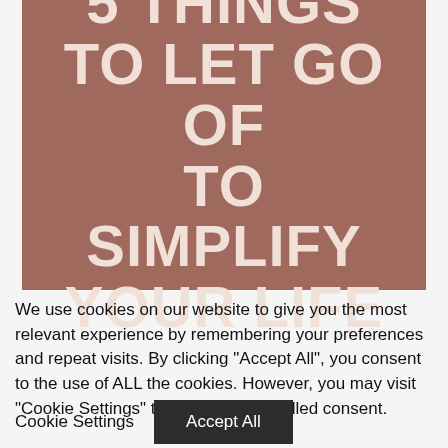[Figure (illustration): Mauve/dusty rose colored rectangular image block with website URL 'BALANCETHROUGHSIMPLICITY.COM' at the top and large bold white title text '5 THINGS TO LET GO OF TO SIMPLIFY YOUR LIFE']
We use cookies on our website to give you the most relevant experience by remembering your preferences and repeat visits. By clicking "Accept All", you consent to the use of ALL the cookies. However, you may visit "Cookie Settings" to provide a controlled consent.
Cookie Settings | Accept All